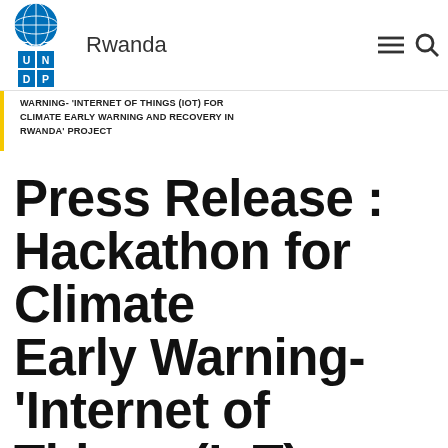Rwanda
WARNING- 'INTERNET OF THINGS (IOT) FOR CLIMATE EARLY WARNING AND RECOVERY IN RWANDA' PROJECT
Press Release : Hackathon for Climate Early Warning- 'Internet of Things (IoT) for Climate Early Warning and Recovery in Rwanda' Project